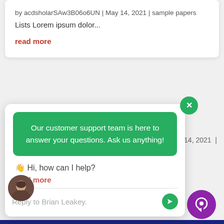by acdsholarSAw3B06o6UN | May 14, 2021 | sample papers
Lists Lorem ipsum dolor...
read more
[Figure (screenshot): Chat widget overlay showing customer support popup with green bubble saying 'Our customer support team is here to answer your questions. Ask us anything!' and a reply input bar with 'Reply to Brian Leakey.' placeholder, a green send button, and an avatar photo.]
14, 2021 |
👋 Hi, how can I help?
read more
Reply to Brian Leakey.
© Hi, how can I help?